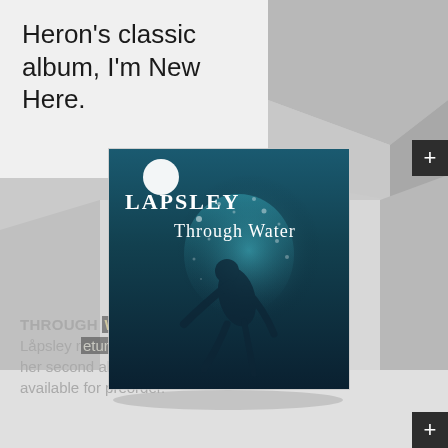Heron's classic album, I'm New Here.
[Figure (illustration): Album cover for Låpsley 'Through Water' showing an underwater scene with a figure submerged in teal/dark blue water with bubbles, and a white circle in top left corner. Text reads LAPSLEY Through Water in white serif font.]
THROUGH WATER: Låpsley returns with her second album, no available for preorder.